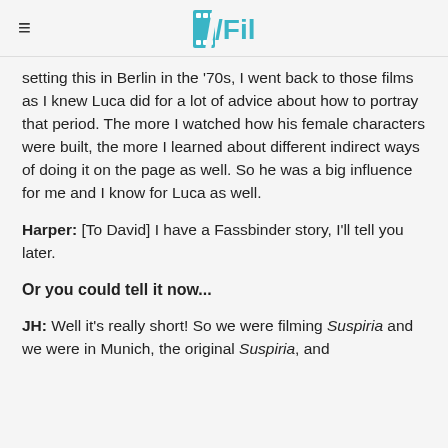/Film
setting this in Berlin in the '70s, I went back to those films as I knew Luca did for a lot of advice about how to portray that period. The more I watched how his female characters were built, the more I learned about different indirect ways of doing it on the page as well. So he was a big influence for me and I know for Luca as well.
Harper: [To David] I have a Fassbinder story, I'll tell you later.
Or you could tell it now...
JH: Well it's really short! So we were filming Suspiria and we were in Munich, the original Suspiria, and